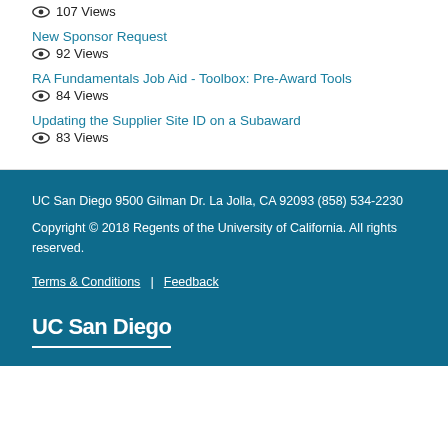107 Views
New Sponsor Request
92 Views
RA Fundamentals Job Aid - Toolbox: Pre-Award Tools
84 Views
Updating the Supplier Site ID on a Subaward
83 Views
UC San Diego 9500 Gilman Dr. La Jolla, CA 92093 (858) 534-2230
Copyright © 2018 Regents of the University of California. All rights reserved.
Terms & Conditions | Feedback
UC San Diego